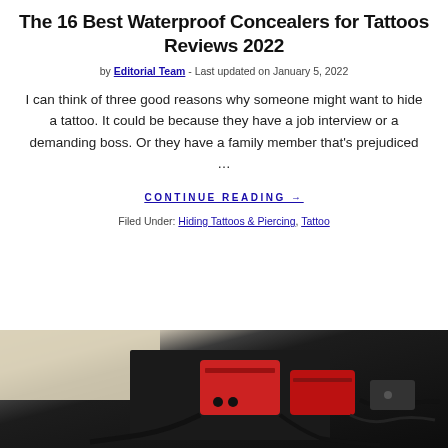The 16 Best Waterproof Concealers for Tattoos Reviews 2022
by Editorial Team - Last updated on January 5, 2022
I can think of three good reasons why someone might want to hide a tattoo. It could be because they have a job interview or a demanding boss. Or they have a family member that's prejudiced …
CONTINUE READING →
Filed Under: Hiding Tattoos & Piercing, Tattoo
[Figure (photo): Photo of tattoo equipment including red power supply units, black cables, and various tattoo machine accessories on a light background]